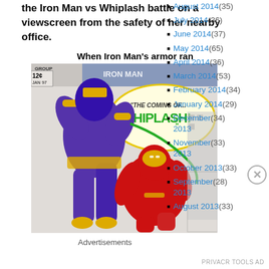the Iron Man vs Whiplash battle on a viewscreen from the safety of her nearby office.
When Iron Man's armor ran
[Figure (illustration): Comic book cover showing Whiplash attacking Iron Man. Title reads 'The Coming of... Whiplash!' Group label top left, price 12 cents, issue Jan 97.]
Advertisements
August 2014 (35)
July 2014 (36)
June 2014 (37)
May 2014 (65)
April 2014 (36)
March 2014 (53)
February 2014 (34)
January 2014 (29)
December 2013 (34)
November 2013 (33)
October 2013 (33)
September 2013 (28)
August 2013 (33)